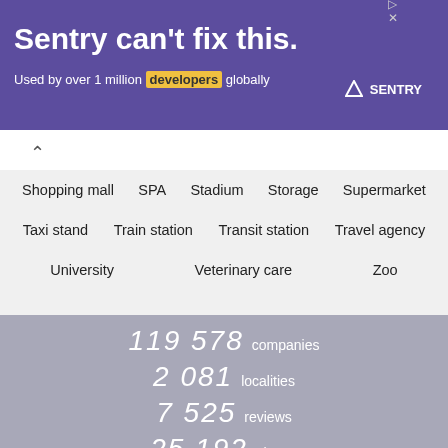[Figure (screenshot): Sentry advertisement banner with purple background. Text: 'Sentry can't fix this.' and 'Used by over 1 million developers globally'. Sentry logo on right.]
Shopping mall
SPA
Stadium
Storage
Supermarket
Taxi stand
Train station
Transit station
Travel agency
University
Veterinary care
Zoo
119 578 companies
2 081 localities
7 525 reviews
25 192 photos